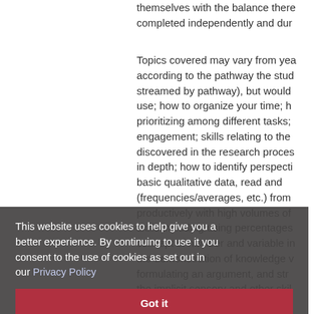themselves with the balance there completed independently and dur
Topics covered may vary from yea according to the pathway the stud streamed by pathway), but would use; how to organize your time; h prioritizing among different tasks; engagement; skills relating to the discovered in the research proces in depth; how to identify perspecti basic qualitative data, read and (frequencies/averages, etc.) from productively with high volumes of skills including using percentages concept of number and variable i the demonstration of knowledge v formulating an argument, and str the implicit sensory and other skil
This website uses cookies to help give you a better experience. By continuing to use it you consent to the use of cookies as set out in our Privacy Policy
Got it